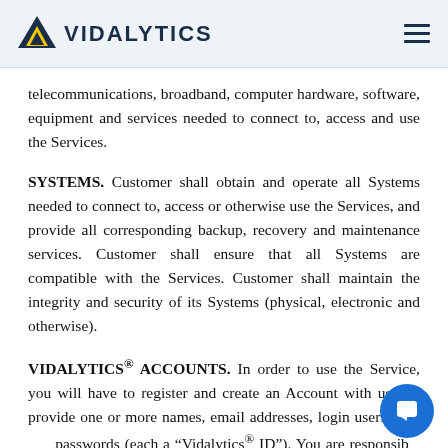VIDALYTICS
telecommunications, broadband, computer hardware, software, equipment and services needed to connect to, access and use the Services.
SYSTEMS. Customer shall obtain and operate all Systems needed to connect to, access or otherwise use the Services, and provide all corresponding backup, recovery and maintenance services. Customer shall ensure that all Systems are compatible with the Services. Customer shall maintain the integrity and security of its Systems (physical, electronic and otherwise).
VIDALYTICS® ACCOUNTS. In order to use the Service, you will have to register and create an Account with us and provide one or more names, email addresses, login usernames and passwords (each a “Vidalytics® ID”). You are responsible for maintaining the confidentiality of your Vidalytics® IDs. You